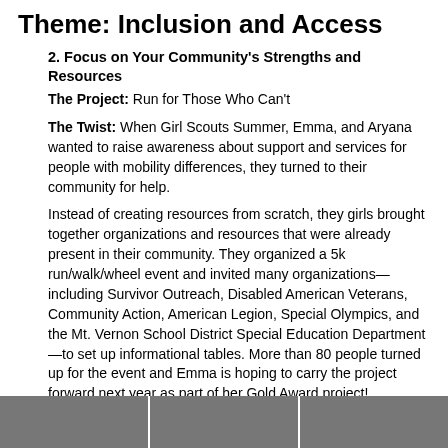Theme: Inclusion and Access
2. Focus on Your Community's Strengths and Resources
The Project: Run for Those Who Can't
The Twist: When Girl Scouts Summer, Emma, and Aryana wanted to raise awareness about support and services for people with mobility differences, they turned to their community for help.
Instead of creating resources from scratch, they girls brought together organizations and resources that were already present in their community. They organized a 5k run/walk/wheel event and invited many organizations—including Survivor Outreach, Disabled American Veterans, Community Action, American Legion, Special Olympics, and the Mt. Vernon School District Special Education Department—to set up informational tables. More than 80 people turned up for the event and Emma is hoping to carry the project forward next year as part of her Gold Award project!
[Figure (photo): Strip of three photos at bottom of page showing event scenes]